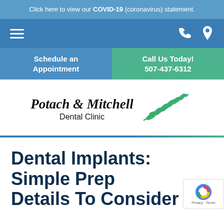Click here to view our COVID-19 (coronavirus) statement.
[Figure (screenshot): Navigation bar with hamburger menu icon on left and phone/location icons on right, on blue background]
Schedule an Appointment
Call Us Today! 507-437-6312
[Figure (logo): Potach & Mitchell Dental Clinic logo with olive branch graphic]
Dental Implants: Simple Prep Details To Consider